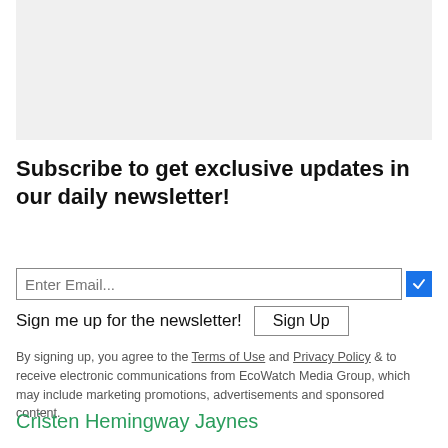[Figure (other): Gray placeholder/advertisement box]
Subscribe to get exclusive updates in our daily newsletter!
Enter Email... [checkbox] Sign me up for the newsletter! [Sign Up button]
By signing up, you agree to the Terms of Use and Privacy Policy & to receive electronic communications from EcoWatch Media Group, which may include marketing promotions, advertisements and sponsored content.
Cristen Hemingway Jaynes